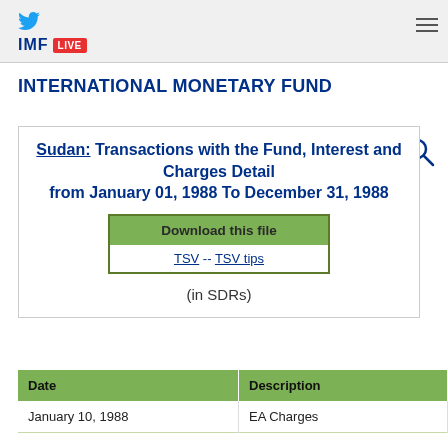IMF LIVE
INTERNATIONAL MONETARY FUND
Sudan: Transactions with the Fund, Interest and Charges Detail from January 01, 1988 To December 31, 1988
Download this file
TSV -- TSV tips
(in SDRs)
| Date | Description |
| --- | --- |
| January 10, 1988 | EA Charges |